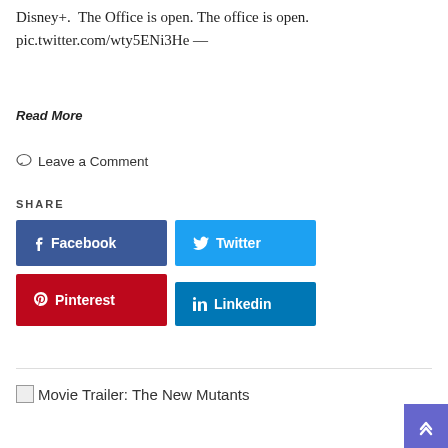Disney+.  The Office is open. The office is open. pic.twitter.com/wty5ENi3He —
Read More
Leave a Comment
SHARE
Facebook
Twitter
Pinterest
Linkedin
Movie Trailer: The New Mutants